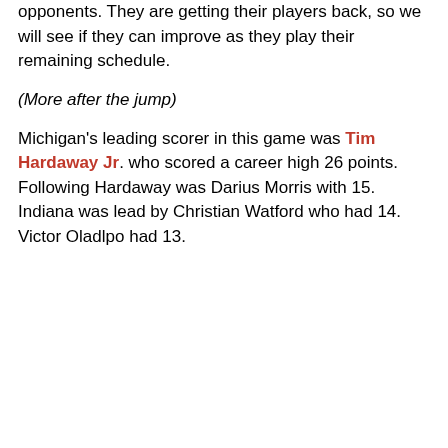opponents. They are getting their players back, so we will see if they can improve as they play their remaining schedule.
(More after the jump)
Michigan's leading scorer in this game was Tim Hardaway Jr. who scored a career high 26 points. Following Hardaway was Darius Morris with 15. Indiana was lead by Christian Watford who had 14. Victor Oladlpo had 13.